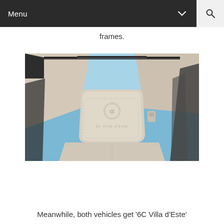Menu
frames.
[Figure (photo): Interior car photo showing a cream/beige leather headrest with Alfa Romeo logo and '6C Villa d'Este' script embroidered on it, viewed from rear seat looking forward through a panoramic sunroof showing blue sky]
Meanwhile, both vehicles get '6C Villa d'Este' embroidered headrests on the front seats.